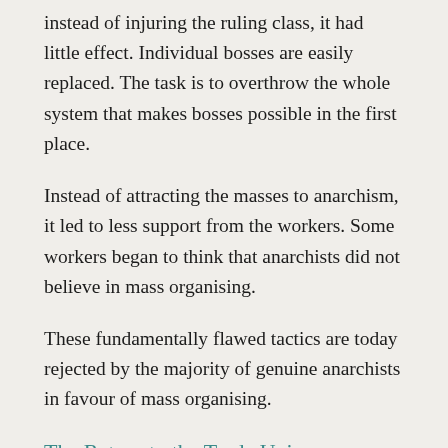instead of injuring the ruling class, it had little effect. Individual bosses are easily replaced. The task is to overthrow the whole system that makes bosses possible in the first place.
Instead of attracting the masses to anarchism, it led to less support from the workers. Some workers began to think that anarchists did not believe in mass organising.
These fundamentally flawed tactics are today rejected by the majority of genuine anarchists in favour of mass organising.
The Return to the Trade Unions
By the 1890s, the anarchists were at a dead end.